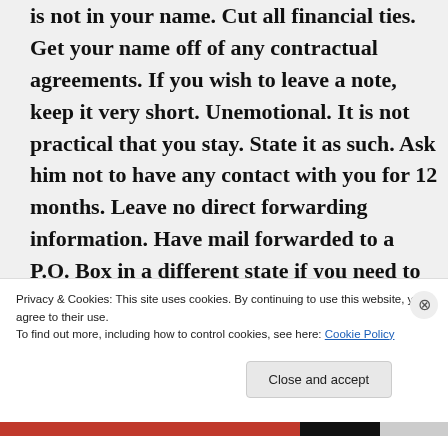is not in your name. Cut all financial ties. Get your name off of any contractual agreements. If you wish to leave a note, keep it very short. Unemotional. It is not practical that you stay. State it as such. Ask him not to have any contact with you for 12 months. Leave no direct forwarding information. Have mail forwarded to a P.O. Box in a different state if you need to and have a friend mail it to you
Privacy & Cookies: This site uses cookies. By continuing to use this website, you agree to their use.
To find out more, including how to control cookies, see here: Cookie Policy
Close and accept